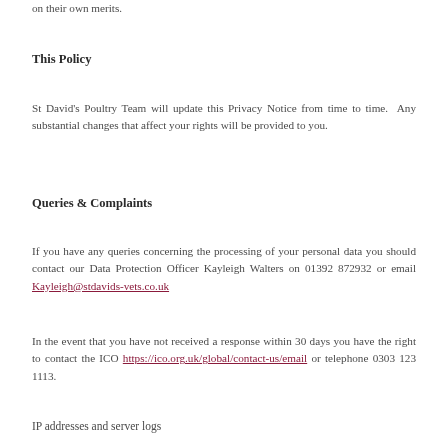on their own merits.
This Policy
St David's Poultry Team will update this Privacy Notice from time to time.  Any substantial changes that affect your rights will be provided to you.
Queries & Complaints
If you have any queries concerning the processing of your personal data you should contact our Data Protection Officer Kayleigh Walters on 01392 872932 or email Kayleigh@stdavids-vets.co.uk
In the event that you have not received a response within 30 days you have the right to contact the ICO https://ico.org.uk/global/contact-us/email or telephone 0303 123 1113.
IP addresses and server logs